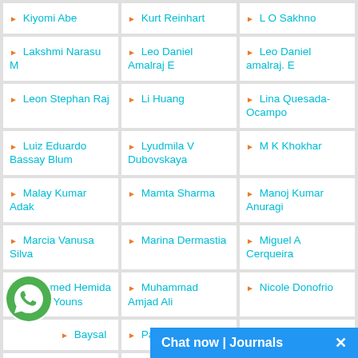▶ Kiyomi Abe
▶ Kurt Reinhart
▶ L O Sakhno
▶ Lakshmi Narasu M
▶ Leo Daniel Amalraj E
▶ Leo Daniel amalraj. E
▶ Leon Stephan Raj
▶ Li Huang
▶ Lina Quesada-Ocampo
▶ Luiz Eduardo Bassay Blum
▶ Lyudmila V Dubovskaya
▶ M K Khokhar
▶ Malay Kumar Adak
▶ Mamta Sharma
▶ Manoj Kumar Anuragi
▶ Marcia Vanusa Silva
▶ Marina Dermastia
▶ Miguel A Cerqueira
▶ Mohamed Hemida Abd-Alla Youns
▶ Muhammad Amjad Ali
▶ Nicole Donofrio
▶ [Baysal]
▶ Paola Leonetti
▶ Phil Bruckner
▶ Qi Shen
▶ Qing-La…